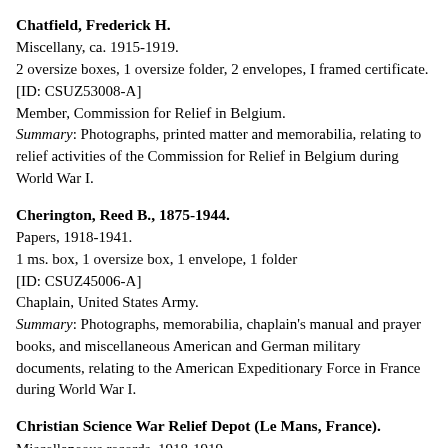Chatfield, Frederick H.
Miscellany, ca. 1915-1919.
2 oversize boxes, 1 oversize folder, 2 envelopes, I framed certificate.
[ID: CSUZ53008-A]
Member, Commission for Relief in Belgium.
Summary: Photographs, printed matter and memorabilia, relating to relief activities of the Commission for Relief in Belgium during World War I.
Cherington, Reed B., 1875-1944.
Papers, 1918-1941.
1 ms. box, 1 oversize box, 1 envelope, 1 folder
[ID: CSUZ45006-A]
Chaplain, United States Army.
Summary: Photographs, memorabilia, chaplain's manual and prayer books, and miscellaneous American and German military documents, relating to the American Expeditionary Force in France during World War I.
Christian Science War Relief Depot (Le Mans, France).
Miscellaneous records, 1918-1919.
1 folder.
[ID: CSUZ61007-A]
Summary: Two visitor's registers, and photographs of war scenes.